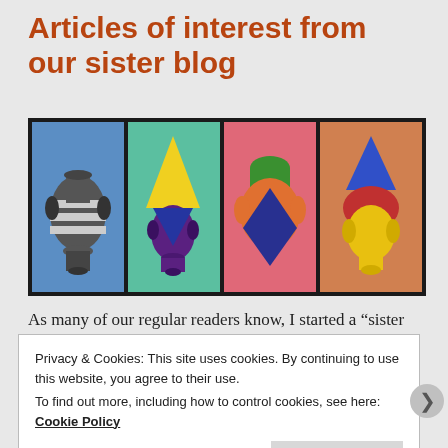Articles of interest from our sister blog
[Figure (photo): Four colorful student artworks displayed side by side, each showing a stylized vase or amphora on a colored background: (1) black and white striped vase on blue, (2) yellow triangle with purple vase on teal, (3) colorful vase on pink, (4) blue triangle with colorful shapes on orange.]
As many of our regular readers know, I started a “sister
Privacy & Cookies: This site uses cookies. By continuing to use this website, you agree to their use.
To find out more, including how to control cookies, see here: Cookie Policy
Close and accept